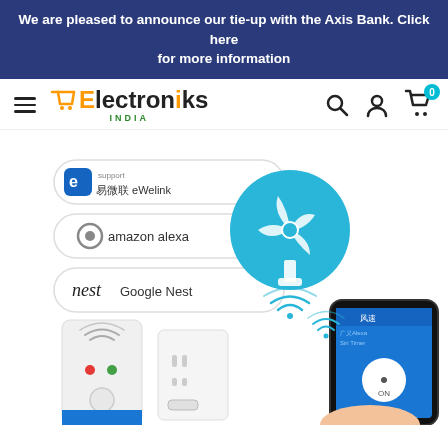We are pleased to announce our tie-up with the Axis Bank. Click here for more information
[Figure (screenshot): Electroniks India e-commerce website header with navigation bar including hamburger menu, logo, search, account, and cart icons]
[Figure (photo): Smart home WiFi switch product image showing smart plug devices with eWeLink, Amazon Alexa, and Google Nest compatibility badges, a fan icon in a blue circle, and a smartphone displaying the control app]